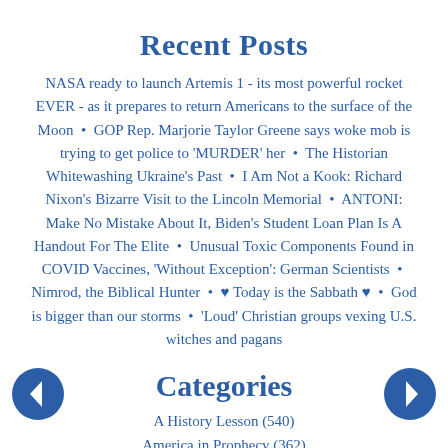Recent Posts
NASA ready to launch Artemis 1 - its most powerful rocket EVER - as it prepares to return Americans to the surface of the Moon  •  GOP Rep. Marjorie Taylor Greene says woke mob is trying to get police to 'MURDER' her •  The Historian Whitewashing Ukraine's Past •  I Am Not a Kook: Richard Nixon's Bizarre Visit to the Lincoln Memorial •  ANTONI: Make No Mistake About It, Biden's Student Loan Plan Is A Handout For The Elite •  Unusual Toxic Components Found in COVID Vaccines, 'Without Exception': German Scientists •  Nimrod, the Biblical Hunter •  ♥ Today is the Sabbath ♥ •  God is bigger than our storms •  'Loud' Christian groups vexing U.S. witches and pagans
Categories
A History Lesson (540)
America in Prophecy (362)